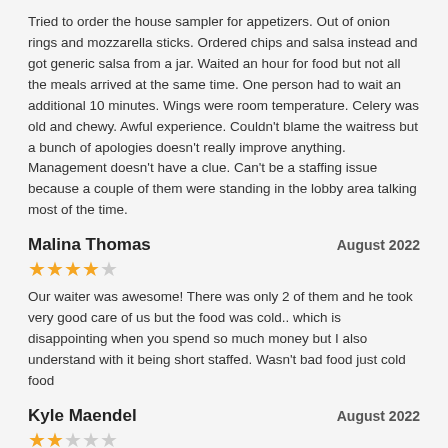Tried to order the house sampler for appetizers. Out of onion rings and mozzarella sticks. Ordered chips and salsa instead and got generic salsa from a jar. Waited an hour for food but not all the meals arrived at the same time. One person had to wait an additional 10 minutes. Wings were room temperature. Celery was old and chewy. Awful experience. Couldn't blame the waitress but a bunch of apologies doesn't really improve anything. Management doesn't have a clue. Can't be a staffing issue because a couple of them were standing in the lobby area talking most of the time.
Malina Thomas
August 2022
[Figure (other): 4 out of 5 stars rating]
Our waiter was awesome! There was only 2 of them and he took very good care of us but the food was cold.. which is disappointing when you spend so much money but I also understand with it being short staffed. Wasn't bad food just cold food
Kyle Maendel
August 2022
[Figure (other): 2 out of 5 stars rating]